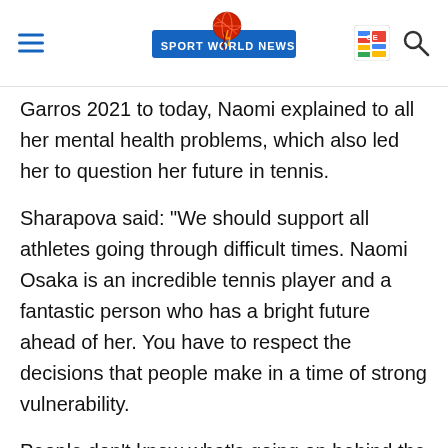Sport World News
Garros 2021 to today, Naomi explained to all her mental health problems, which also led her to question her future in tennis.
Sharapova said: "We should support all athletes going through difficult times. Naomi Osaka is an incredible tennis player and a fantastic person who has a bright future ahead of her. You have to respect the decisions that people make in a time of strong vulnerability.
People don't know what's going on behind the scenes or how a player feels. We must support everyone; the more support we give to the players